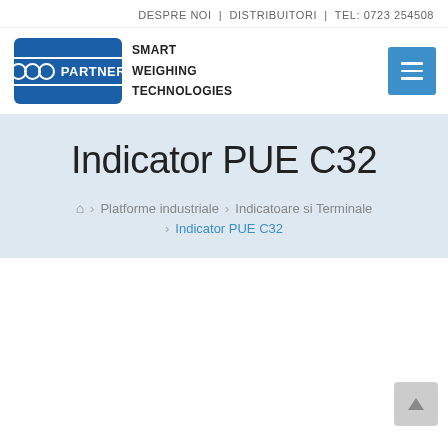DESPRE NOI | DISTRIBUITORI | TEL: 0723 254508
[Figure (logo): Partner Smart Weighing Technologies logo — blue rounded rectangle with PARTNER lettering and three overlapping circles, alongside text SMART WEIGHING TECHNOLOGIES]
Indicator PUE C32
🏠 > Platforme industriale > Indicatoare si Terminale > Indicator PUE C32